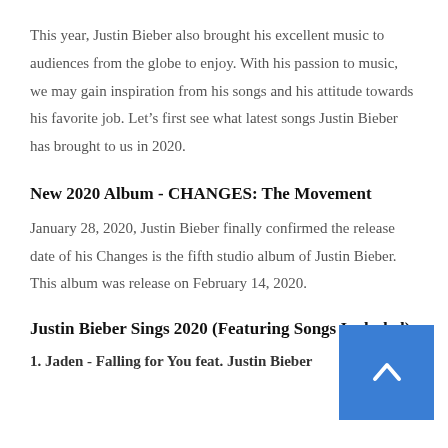This year, Justin Bieber also brought his excellent music to audiences from the globe to enjoy. With his passion to music, we may gain inspiration from his songs and his attitude towards his favorite job. Let’s first see what latest songs Justin Bieber has brought to us in 2020.
New 2020 Album - CHANGES: The Movement
January 28, 2020, Justin Bieber finally confirmed the release date of his Changes is the fifth studio album of Justin Bieber. This album was release on February 14, 2020.
Justin Bieber Sings 2020 (Featuring Songs Included)
1. Jaden - Falling for You feat. Justin Bieber